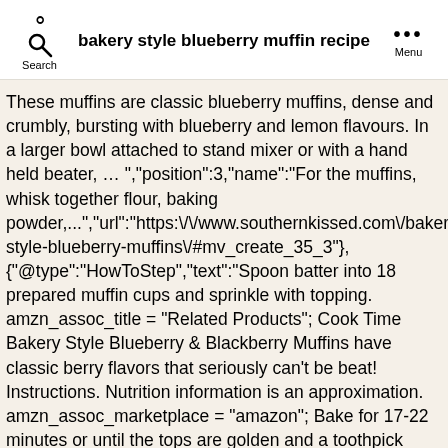bakery style blueberry muffin recipe
These muffins are classic blueberry muffins, dense and crumbly, bursting with blueberry and lemon flavours. In a larger bowl attached to stand mixer or with a hand held beater, … ","position":3,"name":"For the muffins, whisk together flour, baking powder,...","url":"https:\/\/www.southernkissed.com\/bakery-style-blueberry-muffins\/#mv_create_35_3"},{"@type":"HowToStep","text":"Spoon batter into 18 prepared muffin cups and sprinkle with topping. amzn_assoc_title = "Related Products"; Cook Time Bakery Style Blueberry & Blackberry Muffins have classic berry flavors that seriously can't be beat! Instructions. Nutrition information is an approximation. amzn_assoc_marketplace = "amazon"; Bake for 17-22 minutes or until the tops are golden and a toothpick inserted into the center comes out clean. For the muffins, whisk together flour, baking powder, salt, and sugar in a